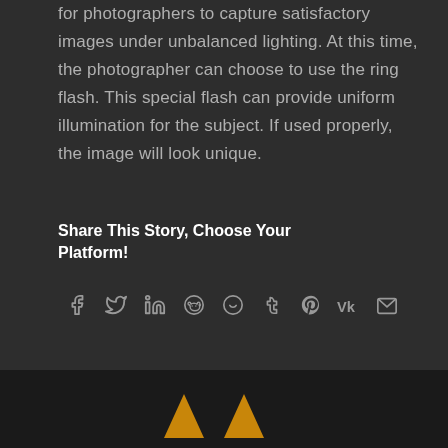for photographers to capture satisfactory images under unbalanced lighting. At this time, the photographer can choose to use the ring flash. This special flash can provide uniform illumination for the subject. If used properly, the image will look unique.
Share This Story, Choose Your Platform!
[Figure (infographic): Social media sharing icons: Facebook, Twitter, LinkedIn, Reddit, WhatsApp, Tumblr, Pinterest, VK, and Email]
[Figure (logo): Two golden/orange triangular logo marks at the bottom of the page on a dark background]